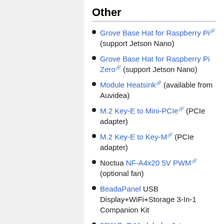Other
Grove Base Hat for Raspberry Pi (support Jetson Nano)
Grove Base Hat for Raspberry Pi Zero (support Jetson Nano)
Module Heatsink (available from Auvidea)
M.2 Key-E to Mini-PCIe (PCIe adapter)
M.2 Key-E to Key-M (PCIe adapter)
Noctua NF-A4x20 5V PWM (optional fan)
BeadaPanel USB Display+WiFi+Storage 3-In-1 Companion Kit
20W PoE Module for Jetson Nano (5.2V⊠4A PoE)
See the Jetson Nano Supported